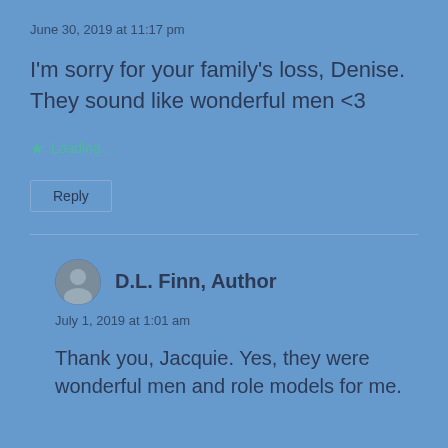June 30, 2019 at 11:17 pm
I'm sorry for your family's loss, Denise. They sound like wonderful men <3
Loading...
Reply
D.L. Finn, Author
July 1, 2019 at 1:01 am
Thank you, Jacquie. Yes, they were wonderful men and role models for me.